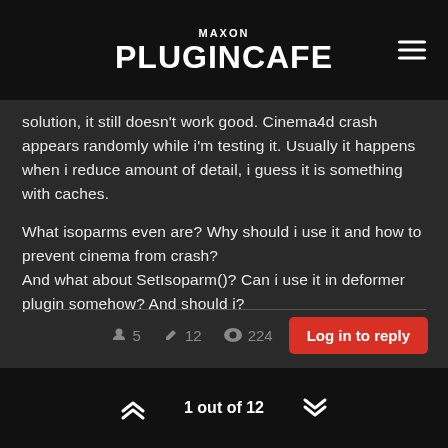MAXON PLUGINCAFE
solution, it still doesn't work good. Cinema4d crash appears randomly while i'm testing it. Usually it happens when i reduce amount of detail, i guess it is something with caches.

What isoparms even are? Why should i use it and how to prevent cinema from crash?
And what about SetIsoparm()? Can i use it in deformer plugin somehow? And should i?
5  12  224  Log in to reply  1 out of 12